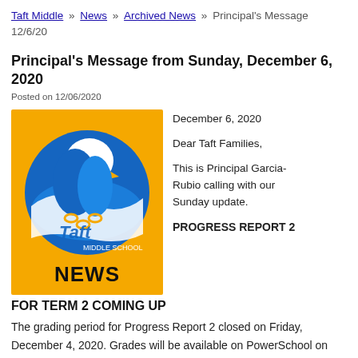Taft Middle » News » Archived News » Principal's Message 12/6/20
Principal's Message from Sunday, December 6, 2020
Posted on 12/06/2020
[Figure (logo): Taft Middle School mascot logo — eagle on gold background with text NEWS]
December 6, 2020

Dear Taft Families,

This is Principal Garcia-Rubio calling with our Sunday update.

PROGRESS REPORT 2 FOR TERM 2 COMING UP
The grading period for Progress Report 2 closed on Friday, December 4, 2020. Grades will be available on PowerSchool on Friday, December 11, 2020. It is very